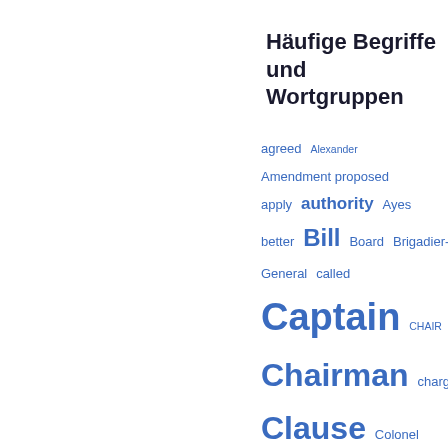Häufige Begriffe und Wortgruppen
[Figure (other): Word cloud of frequently used terms and phrases in a government document, displayed in varying sizes of blue text indicating frequency. Terms include: agreed, Alexander, Amendment proposed, apply, authority, Ayes, better, Bill, Board, Brigadier-General, called, Captain, CHAIR, Chairman, charge, Clause, Colonel, Committee, Committee divided, considered, Continued, copies, Council, County, course, Davies]